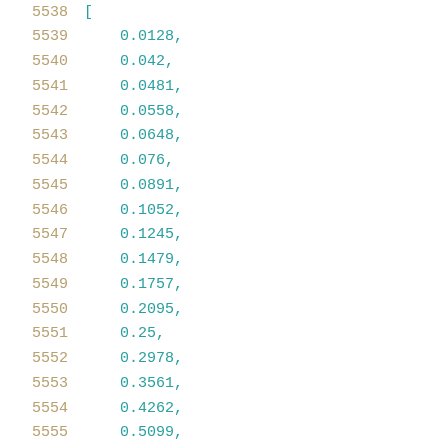| line | code |
| --- | --- |
| 5538 | [ |
| 5539 | 0.0128, |
| 5540 | 0.042, |
| 5541 | 0.0481, |
| 5542 | 0.0558, |
| 5543 | 0.0648, |
| 5544 | 0.076, |
| 5545 | 0.0891, |
| 5546 | 0.1052, |
| 5547 | 0.1245, |
| 5548 | 0.1479, |
| 5549 | 0.1757, |
| 5550 | 0.2095, |
| 5551 | 0.25, |
| 5552 | 0.2978, |
| 5553 | 0.3561, |
| 5554 | 0.4262, |
| 5555 | 0.5099, |
| 5556 | 0.6098, |
| 5557 | 0.7304, |
| 5558 | 0.8749, |
| 5559 | 1.0434, |